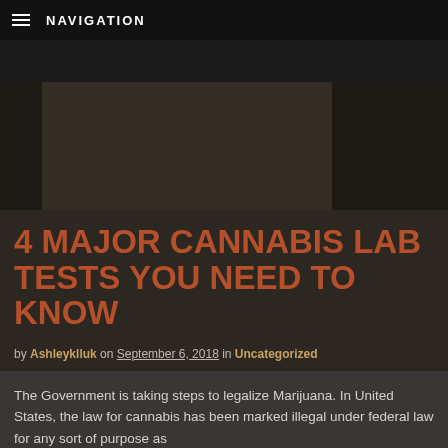NAVIGATION
[Figure (photo): Hero banner image area, darkened/muted cannabis-related photo]
4 MAJOR CANNABIS LAB TESTS YOU NEED TO KNOW
by Ashleyklluk on September 6, 2018 in Uncategorized
The Government is taking steps to legalize Marijuana. In United States, the law for cannabis has been marked illegal under federal law for any sort of purpose as